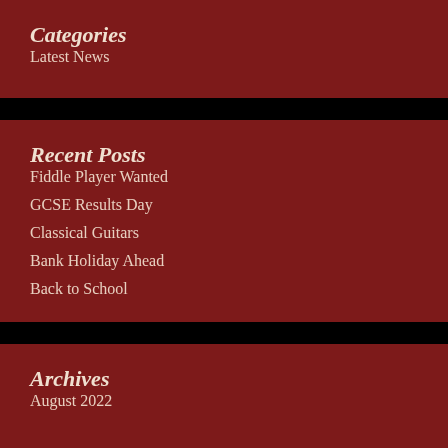Categories
Latest News
Recent Posts
Fiddle Player Wanted
GCSE Results Day
Classical Guitars
Bank Holiday Ahead
Back to School
Archives
August 2022